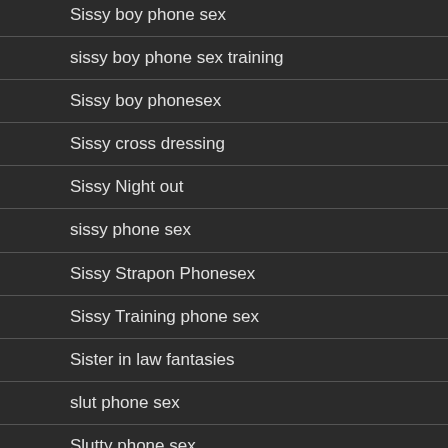Sissy boy phone sex
sissy boy phone sex training
Sissy boy phonesex
Sissy cross dressing
Sissy Night out
sissy phone sex
Sissy Strapon Phonesex
Sissy Training phone sex
Sister in law fantasies
slut phone sex
Slutty phone sex